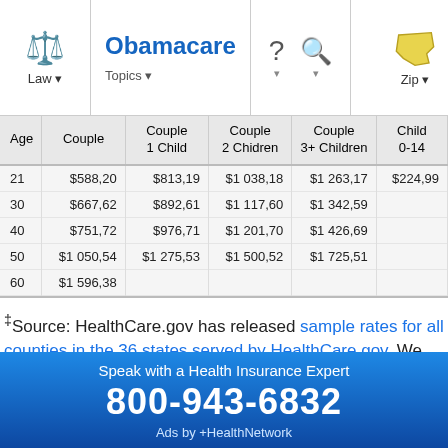Obamacare | Law | Topics | ? | Search | Zip
| Age | Couple | Couple
1 Child | Couple
2 Chidren | Couple
3+ Children | Child
0-14 |
| --- | --- | --- | --- | --- | --- |
| 21 | $588,20 | $813,19 | $1 038,18 | $1 263,17 | $224,99 |
| 30 | $667,62 | $892,61 | $1 117,60 | $1 342,59 |  |
| 40 | $751,72 | $976,71 | $1 201,70 | $1 426,69 |  |
| 50 | $1 050,54 | $1 275,53 | $1 500,52 | $1 725,51 |  |
| 60 | $1 596,38 |  |  |  |  |
‡Source: HealthCare.gov has released sample rates for all counties in the 36 states served by HealthCare.gov. We have integrated that data into our tables and provide you that information for Brazos County here.
Speak with a Health Insurance Expert
800-943-6832
Ads by +HealthNetwork